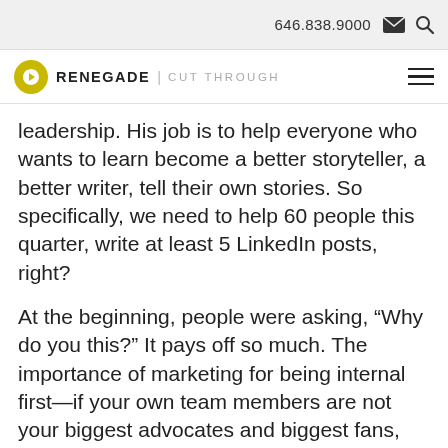646.838.9000
RENEGADE | CUT THROUGH
leadership. His job is to help everyone who wants to learn become a better storyteller, a better writer, tell their own stories. So specifically, we need to help 60 people this quarter, write at least 5 LinkedIn posts, right?
At the beginning, people were asking, “Why do you this?” It pays off so much. The importance of marketing for being internal first—if your own team members are not your biggest advocates and biggest fans, you won’t be able to make your customers and your prospects and your partners and the external circles your fans.